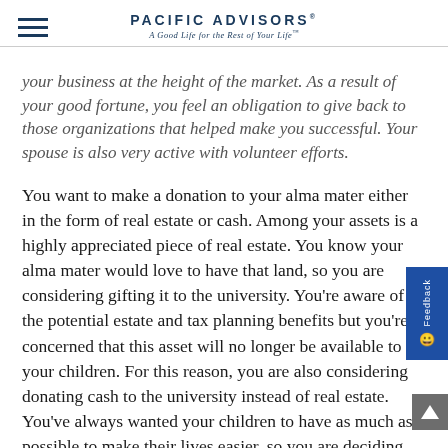Pacific Advisors® — A Good Life for the Rest of Your Life™
your business at the height of the market. As a result of your good fortune, you feel an obligation to give back to those organizations that helped make you successful. Your spouse is also very active with volunteer efforts.
You want to make a donation to your alma mater either in the form of real estate or cash. Among your assets is a highly appreciated piece of real estate. You know your alma mater would love to have that land, so you are considering gifting it to the university. You're aware of the potential estate and tax planning benefits but you're concerned that this asset will no longer be available to your children. For this reason, you are also considering donating cash to the university instead of real estate. You've always wanted your children to have as much as possible to make their lives easier, so you are deciding